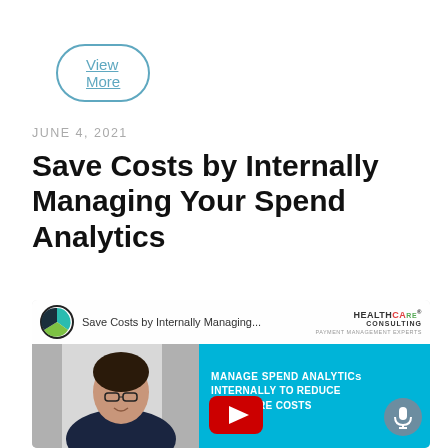View More
JUNE 4, 2021
Save Costs by Internally Managing Your Spend Analytics
[Figure (screenshot): YouTube video thumbnail for 'Save Costs by Internally Managing' with a woman in a dark blazer, a teal company logo circle on the left, HEALTHCARE CONSULTING logo top right, a cyan blue overlay band at bottom right with white bold text reading 'MANAGE SPEND ANALYTICS INTERNALLY TO REDUCE HEALTHCARE COSTS', a YouTube play button, and a microphone icon circle.]